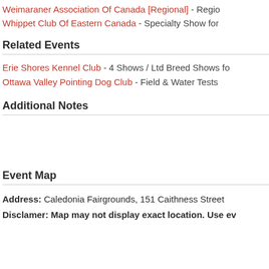Weimaraner Association Of Canada [Regional] - Regional...
Whippet Club Of Eastern Canada - Specialty Show for...
Related Events
Erie Shores Kennel Club - 4 Shows / Ltd Breed Shows fo...
Ottawa Valley Pointing Dog Club - Field & Water Tests...
Additional Notes
Event Map
Address: Caledonia Fairgrounds, 151 Caithness Street...
Disclamer: Map may not display exact location. Use ev...